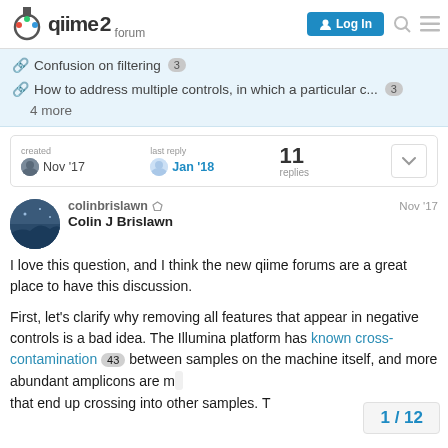qiime2 forum — Log In
Confusion on filtering  3
How to address multiple controls, in which a particular c...  3
4 more
created Nov '17   last reply Jan '18   11 replies
colinbrislawn  Colin J Brislawn  Nov '17
I love this question, and I think the new qiime forums are a great place to have this discussion.

First, let's clarify why removing all features that appear in negative controls is a bad idea. The Illumina platform has known cross-contamination 43 between samples on the machine itself, and more abundant amplicons are more likely to be the ones that end up crossing into other samples. T
1 / 12